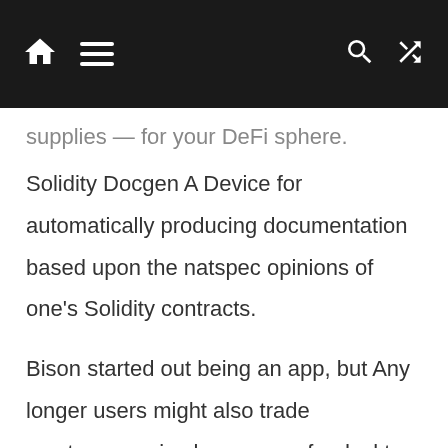[home] [menu] [search] [shuffle]
supplies — for your DeFi sphere.
Solidity Docgen A Device for automatically producing documentation based upon the natspec opinions of one's Solidity contracts.
Bison started out being an app, but Any longer users might also trade cryptocurrencies by means of a desktop software which offers A variety of capabilities comparable to the cellular Variation.